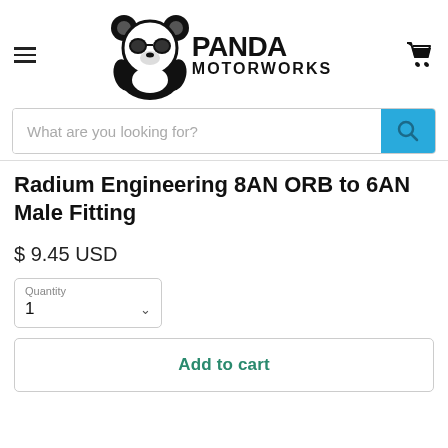[Figure (logo): Panda Motorworks logo with panda wearing sunglasses and bold text PANDA MOTORWORKS]
What are you looking for?
Radium Engineering 8AN ORB to 6AN Male Fitting
$ 9.45 USD
Quantity 1
Add to cart